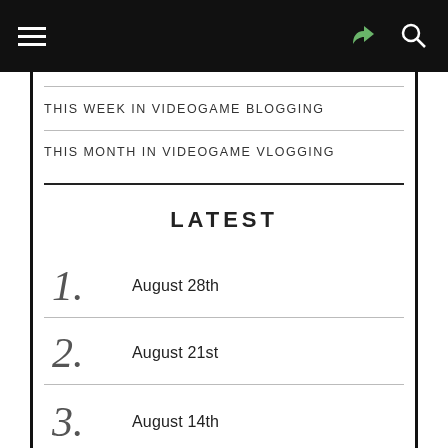Navigation bar with hamburger menu, share icon, and search icon
THIS WEEK IN VIDEOGAME BLOGGING
THIS MONTH IN VIDEOGAME VLOGGING
LATEST
1. August 28th
2. August 21st
3. August 14th